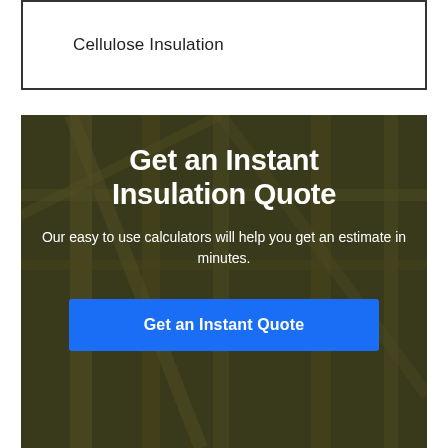| Cellulose Insulation |
[Figure (photo): Background photo of wood framing/construction framing structure with dark olive/green tint overlay, containing a call-to-action banner for insulation quote.]
Get an Instant Insulation Quote
Our easy to use calculators will help you get an estimate in minutes.
Get an Instant Quote